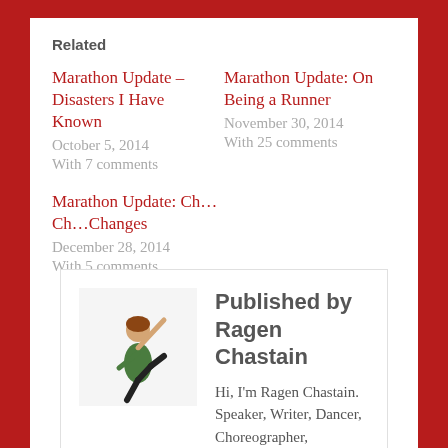Related
Marathon Update – Disasters I Have Known
October 5, 2014
With 7 comments
Marathon Update: On Being a Runner
November 30, 2014
With 25 comments
Marathon Update: Ch…Ch…Changes
December 28, 2014
With 5 comments
Published by Ragen Chastain
Hi, I'm Ragen Chastain. Speaker, Writer, Dancer, Choreographer,
[Figure (photo): Photo of Ragen Chastain in a dance pose, wearing green top and black pants, on white background]